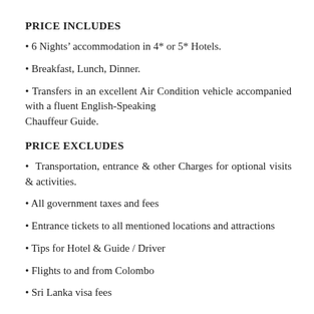PRICE INCLUDES
6 Nights’ accommodation in 4* or 5* Hotels.
Breakfast, Lunch, Dinner.
Transfers in an excellent Air Condition vehicle accompanied with a fluent English-Speaking Chauffeur Guide.
PRICE EXCLUDES
Transportation, entrance & other Charges for optional visits & activities.
All government taxes and fees
Entrance tickets to all mentioned locations and attractions
Tips for Hotel & Guide / Driver
Flights to and from Colombo
Sri Lanka visa fees